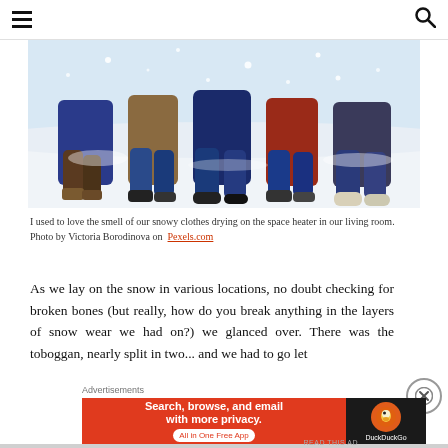≡  [search icon]
[Figure (photo): Children lying in snow, visible from waist down, wearing winter coats and boots, snow falling around them]
I used to love the smell of our snowy clothes drying on the space heater in our living room. Photo by Victoria Borodinova on Pexels.com
As we lay on the snow in various locations, no doubt checking for broken bones (but really, how do you break anything in the layers of snow wear we had on?) we glanced over. There was the toboggan, nearly split in two... and we had to go let
Advertisements
[Figure (screenshot): DuckDuckGo advertisement banner: orange/red left panel reading 'Search, browse, and email with more privacy. All in One Free App' and dark right panel with DuckDuckGo logo]